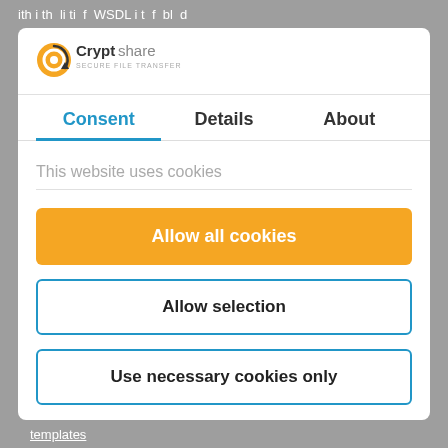ith i th  li ti  f  WSDL i t  f  bl  d
[Figure (logo): Cryptshare logo with orange circular icon and text 'Cryptshare']
Consent | Details | About
This website uses cookies
Allow all cookies
Allow selection
Use necessary cookies only
Powered by Cookiebot by Usercentrics
templates